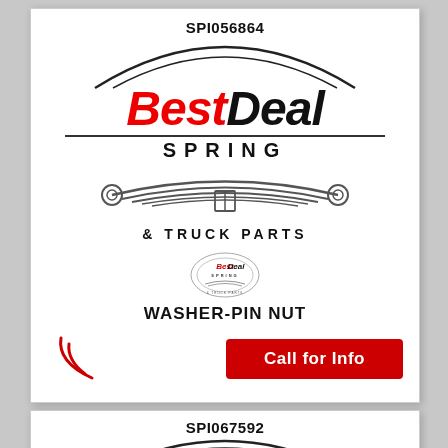SPI056864
[Figure (logo): Best Deal Spring & Truck Parts logo with leaf spring illustration and small circular badge]
WASHER-PIN NUT
Call for Info
SPI067592
[Figure (logo): Best Deal Spring logo partial (bottom card)]